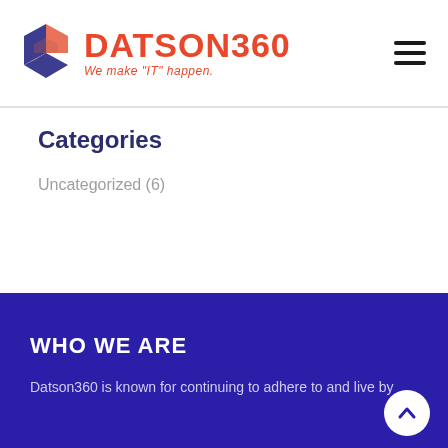DATSON360 — We make "IT" happen.
Categories
Uncategorized (6)
WHO WE ARE
Datson360 is known for continuing to adhere to and live by